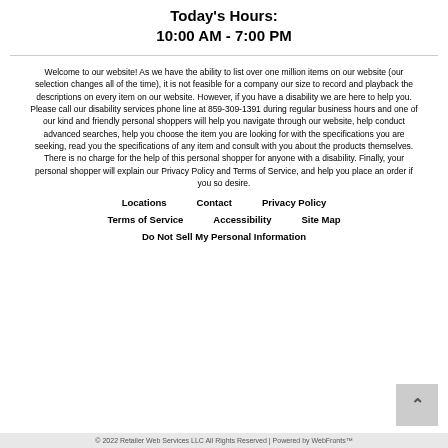Today's Hours:
10:00 AM - 7:00 PM
Welcome to our website! As we have the ability to list over one million items on our website (our selection changes all of the time), it is not feasible for a company our size to record and playback the descriptions on every item on our website. However, if you have a disability we are here to help you. Please call our disability services phone line at 859-309-1391 during regular business hours and one of our kind and friendly personal shoppers will help you navigate through our website, help conduct advanced searches, help you choose the item you are looking for with the specifications you are seeking, read you the specifications of any item and consult with you about the products themselves. There is no charge for the help of this personal shopper for anyone with a disability. Finally, your personal shopper will explain our Privacy Policy and Terms of Service, and help you place an order if you so desire.
Locations
Contact
Privacy Policy
Terms of Service
Accessibility
Site Map
Do Not Sell My Personal Information
© 2022 Retailer Web Services LLC All Rights Reserved | Powered by WebFronts™